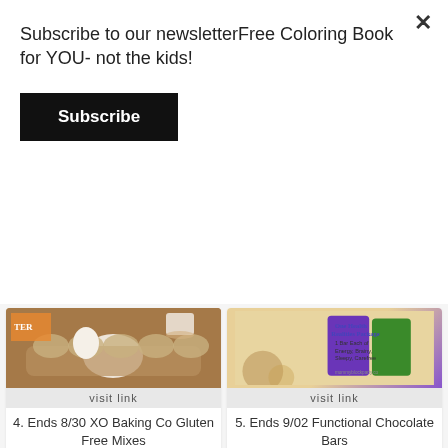Subscribe to our newsletterFree Coloring Book for YOU- not the kids!
Subscribe
[Figure (photo): Photo of egg carton with eggs on a wooden surface with a coffee cup in background]
visit link
4. Ends 8/30 XO Baking Co Gluten Free Mixes
[Figure (photo): Health chocolate bars product image with text: One Health Realities Package, 1 Bar Each of Energy, Brainy, Sleepy, Carefree]
visit link
5. Ends 9/02 Functional Chocolate Bars
[Figure (photo): Yellow background giveaway image: THAT'S MINE GIVEAWAY 8/18-9/01 KID FRIENDLY SAUCES]
[Figure (photo): Enter to win $50 amazon.com gift card image]